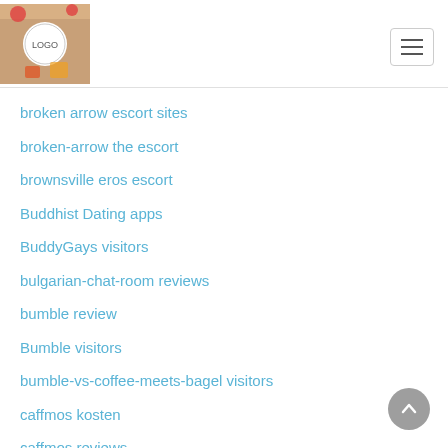Site header with logo and navigation toggle
broken arrow escort sites
broken-arrow the escort
brownsville eros escort
Buddhist Dating apps
BuddyGays visitors
bulgarian-chat-room reviews
bumble review
Bumble visitors
bumble-vs-coffee-meets-bagel visitors
caffmos kosten
caffmos reviews